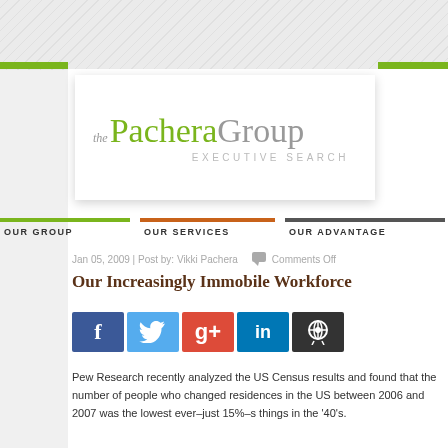[Figure (logo): The Pachera Group Executive Search logo — 'the' in italic gray, 'Pachera' in green serif, 'Group' in gray serif, 'EXECUTIVE SEARCH' in small gray caps below]
OUR GROUP | OUR SERVICES | OUR ADVANTAGE
Jan 05, 2009 | Post by: Vikki Pachera   Comments Off
Our Increasingly Immobile Workforce
[Figure (infographic): Social share buttons: Facebook (blue), Twitter (blue), Google+ (red), LinkedIn (blue), Reddit (dark gray)]
Pew Research recently analyzed the US Census results and found that the number of people who changed residences in the US between 2006 and 2007 was the lowest ever–just 15%–s... things in the '40's.